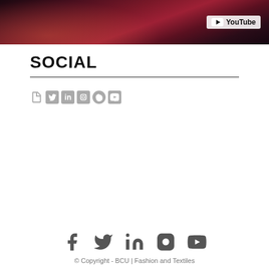[Figure (screenshot): YouTube video thumbnail showing a woman smiling with a YouTube logo badge in the top right corner, dark reddish background]
SOCIAL
[Figure (infographic): Row of small social media icons: document/blog, Twitter, LinkedIn, Instagram, Pinterest, YouTube]
[Figure (infographic): Row of large social media footer icons: Facebook, Twitter, LinkedIn, Instagram, YouTube]
© Copyright - BCU | Fashion and Textiles